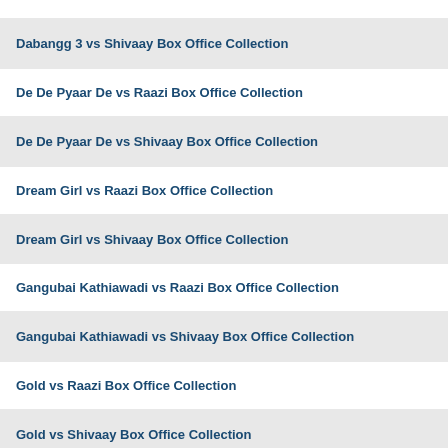Dabangg 3 vs Shivaay Box Office Collection
De De Pyaar De vs Raazi Box Office Collection
De De Pyaar De vs Shivaay Box Office Collection
Dream Girl vs Raazi Box Office Collection
Dream Girl vs Shivaay Box Office Collection
Gangubai Kathiawadi vs Raazi Box Office Collection
Gangubai Kathiawadi vs Shivaay Box Office Collection
Gold vs Raazi Box Office Collection
Gold vs Shivaay Box Office Collection